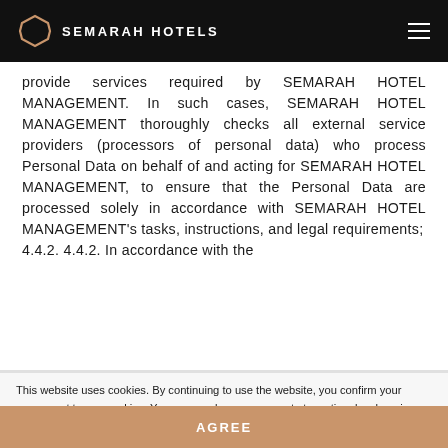SEMARAH HOTELS
provide services required by SEMARAH HOTEL MANAGEMENT. In such cases, SEMARAH HOTEL MANAGEMENT thoroughly checks all external service providers (processors of personal data) who process Personal Data on behalf of and acting for SEMARAH HOTEL MANAGEMENT, to ensure that the Personal Data are processed solely in accordance with SEMARAH HOTEL MANAGEMENT's tasks, instructions, and legal requirements;
4.4.2. 4.4.2. In accordance with the
This website uses cookies. By continuing to use the website, you confirm your agreement to use cookies. You can revoke your consent at any time by changing your browser settings and deleting stored cookies. Read our cookie policy.
AGREE